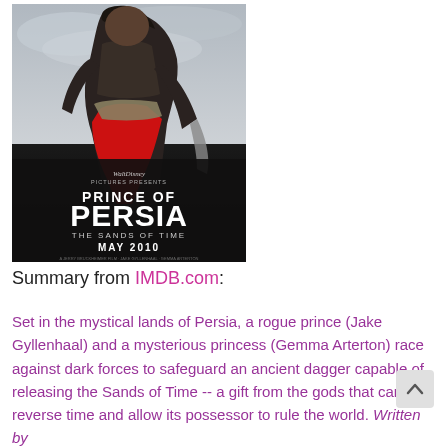[Figure (photo): Movie poster for Prince of Persia: The Sands of Time (Walt Disney Pictures). Shows a warrior figure in dark armor with red sash holding a dagger. Text reads 'PRINCE OF PERSIA THE SANDS OF TIME MAY 2010'.]
Summary from IMDB.com:
Set in the mystical lands of Persia, a rogue prince (Jake Gyllenhaal) and a mysterious princess (Gemma Arterton) race against dark forces to safeguard an ancient dagger capable of releasing the Sands of Time -- a gift from the gods that can reverse time and allow its possessor to rule the world. Written by